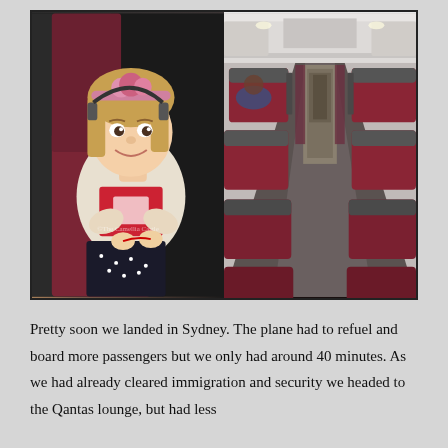[Figure (photo): Two side-by-side photographs. Left: A young girl with blonde hair and a floral headband, wearing a red shirt and cream cardigan, sitting in a burgundy airline seat, smiling at the camera. Right: Interior of an airplane cabin showing rows of burgundy/dark red seats with grey headrests, aisle visible down the middle.]
Pretty soon we landed in Sydney. The plane had to refuel and board more passengers but we only had around 40 minutes. As we had already cleared immigration and security we headed to the Qantas lounge, but had less